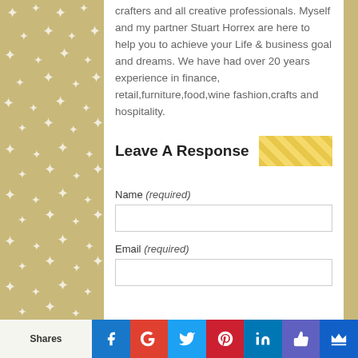crafters and all creative professionals. Myself and my partner Stuart Horrex are here to help you to achieve your Life & business goal and dreams. We have had over 20 years experience in finance, retail,furniture,food,wine fashion,crafts and hospitality.
Leave A Response
Name (required)
Email (required)
Shares | Facebook | Google+ | Twitter | Pinterest | LinkedIn | Like | Crown